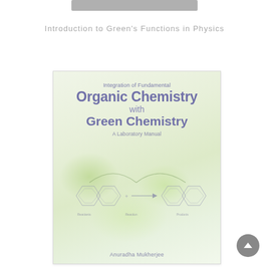[Figure (other): Gray navigation bar at top of page]
Introduction to Green's Functions in Physics
[Figure (illustration): Book cover for 'Integration of Fundamental Organic Chemistry with Green Chemistry: A Laboratory Manual' by Anuradha Mukherjee. Cover features light green gradient background with chemical structure diagrams and reaction arrows. Title text in purple/blue tones.]